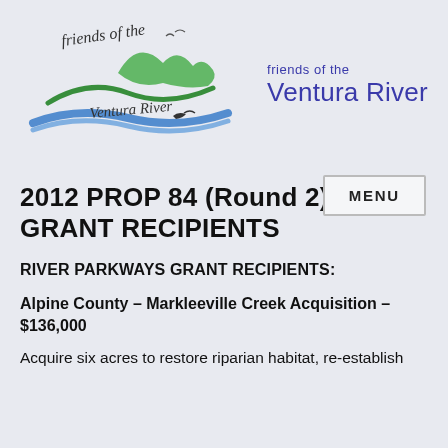[Figure (logo): Friends of the Ventura River logo with stylized green river/bird motif and cursive text]
friends of the Ventura River
MENU
2012 PROP 84 (Round 2) GRANT RECIPIENTS
RIVER PARKWAYS GRANT RECIPIENTS:
Alpine County – Markleeville Creek Acquisition – $136,000
Acquire six acres to restore riparian habitat, re-establish